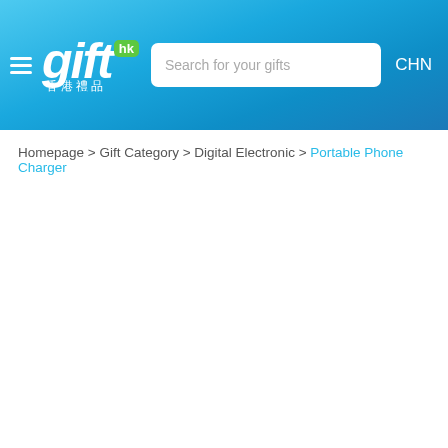gift hk 香港禮品 | Search for your gifts | CHN
Homepage > Gift Category > Digital Electronic > Portable Phone Charger
[Figure (other): Empty content area - no products loaded]
● ○ ○